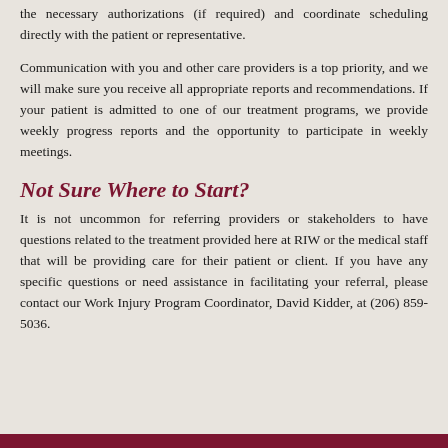the necessary authorizations (if required) and coordinate scheduling directly with the patient or representative.
Communication with you and other care providers is a top priority, and we will make sure you receive all appropriate reports and recommendations. If your patient is admitted to one of our treatment programs, we provide weekly progress reports and the opportunity to participate in weekly meetings.
Not Sure Where to Start?
It is not uncommon for referring providers or stakeholders to have questions related to the treatment provided here at RIW or the medical staff that will be providing care for their patient or client. If you have any specific questions or need assistance in facilitating your referral, please contact our Work Injury Program Coordinator, David Kidder, at (206) 859-5036.